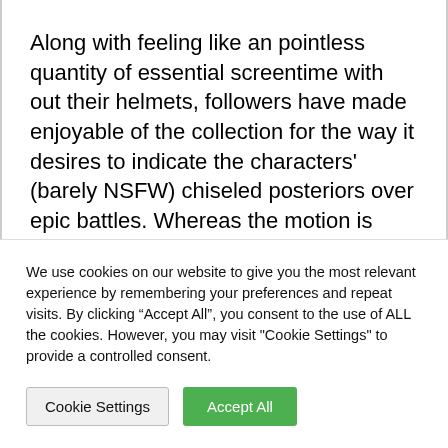Along with feeling like an pointless quantity of essential screentime with out their helmets, followers have made enjoyable of the collection for the way it desires to indicate the characters' (barely NSFW) chiseled posteriors over epic battles. Whereas the motion is brutal and thrilling, when it's seen, it's extra typically painfully temporary. The disappointing factor is that the Spartans, when in motion, look actually good, however gratification is the demise of need, we guess.
We use cookies on our website to give you the most relevant experience by remembering your preferences and repeat visits. By clicking "Accept All", you consent to the use of ALL the cookies. However, you may visit "Cookie Settings" to provide a controlled consent.